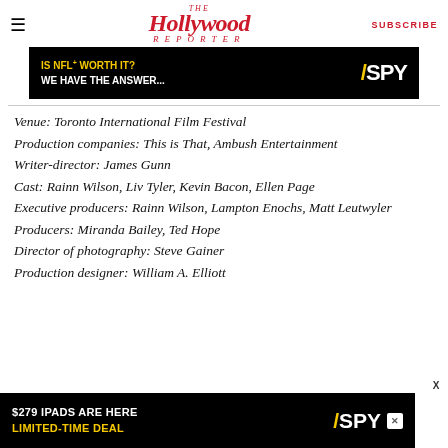The Hollywood Reporter | SUBSCRIBE
[Figure (screenshot): Advertisement banner: IS NFL+ WORTH IT? WE HAVE THE ANSWER... / SPY logo on black and yellow background]
Venue: Toronto International Film Festival
Production companies: This is That, Ambush Entertainment
Writer-director: James Gunn
Cast: Rainn Wilson, Liv Tyler, Kevin Bacon, Ellen Page
Executive producers: Rainn Wilson, Lampton Enochs, Matt Leutwyler
Producers: Miranda Bailey, Ted Hope
Director of photography: Steve Gainer
Production designer: William A. Elliott
[Figure (screenshot): Advertisement banner: $279 IPADS ARE HERE LIMITED-TIME DEAL / SPY logo]